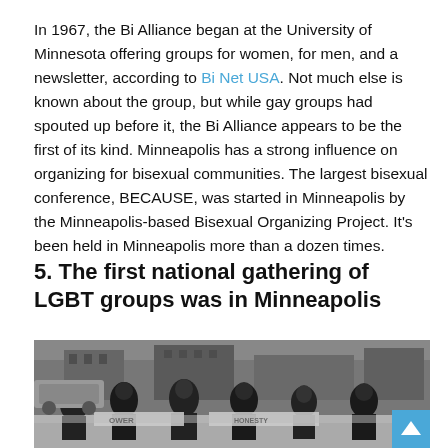In 1967, the Bi Alliance began at the University of Minnesota offering groups for women, for men, and a newsletter, according to Bi Net USA. Not much else is known about the group, but while gay groups had spouted up before it, the Bi Alliance appears to be the first of its kind. Minneapolis has a strong influence on organizing for bisexual communities. The largest bisexual conference, BECAUSE, was started in Minneapolis by the Minneapolis-based Bisexual Organizing Project. It's been held in Minneapolis more than a dozen times.
5. The first national gathering of LGBT groups was in Minneapolis
[Figure (photo): Black and white photograph of a group of people outdoors in winter holding signs including 'OWER', 'HONESTY', and other partially visible text. Appears to be a protest or demonstration.]